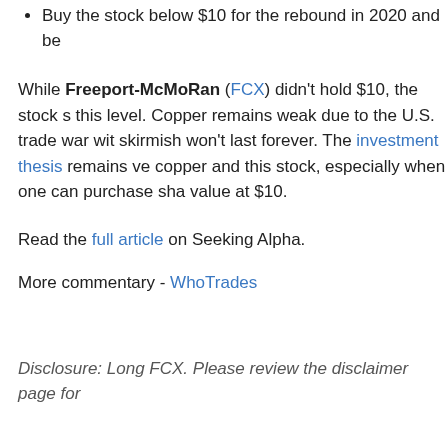Buy the stock below $10 for the rebound in 2020 and be
While Freeport-McMoRan (FCX) didn't hold $10, the stock s this level. Copper remains weak due to the U.S. trade war wit skirmish won't last forever. The investment thesis remains ve copper and this stock, especially when one can purchase sha value at $10.
Read the full article on Seeking Alpha.
More commentary - WhoTrades
Disclosure: Long FCX. Please review the disclaimer page for